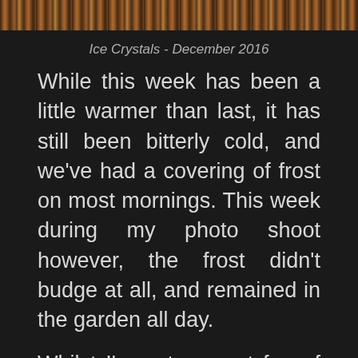[Figure (photo): Close-up photo of ice crystals on a surface, appearing as a textured brown/grey image at the top of the page]
Ice Crystals - December 2016
While this week has been a little warmer than last, it has still been bitterly cold, and we've had a covering of frost on most mornings. This week during my photo shoot however, the frost didn't budge at all, and remained in the garden all day.
Whilst I'm not a great fan of frost (or snow), it does have a way of making even the most mundane of subjects look prettier than usual. This otherwise sad looking brown decaying Cherry Tree leaf being a good case in point.